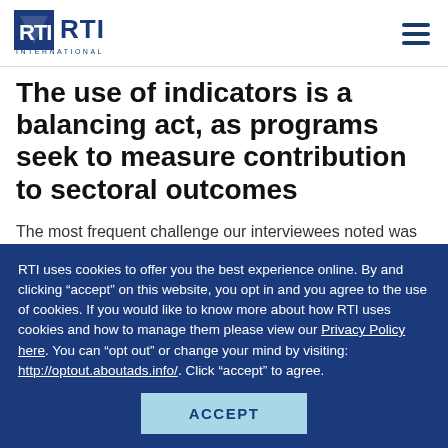RTI International logo and navigation
The use of indicators is a balancing act, as programs seek to measure contribution to sectoral outcomes
The most frequent challenge our interviewees noted was the difficulty of including sectoral results as outcomes from a governance program. In the words of one USAID
RTI uses cookies to offer you the best experience online. By and clicking “accept” on this website, you opt in and you agree to the use of cookies. If you would like to know more about how RTI uses cookies and how to manage them please view our Privacy Policy here. You can “opt out” or change your mind by visiting: http://optout.aboutads.info/. Click “accept” to agree.
ACCEPT